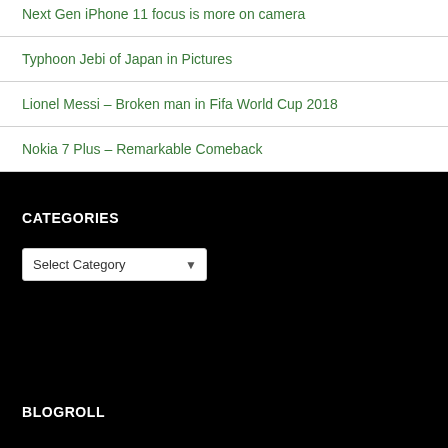Next Gen iPhone 11 focus is more on camera
Typhoon Jebi of Japan in Pictures
Lionel Messi – Broken man in Fifa World Cup 2018
Nokia 7 Plus – Remarkable Comeback
CATEGORIES
Select Category
BLOGROLL